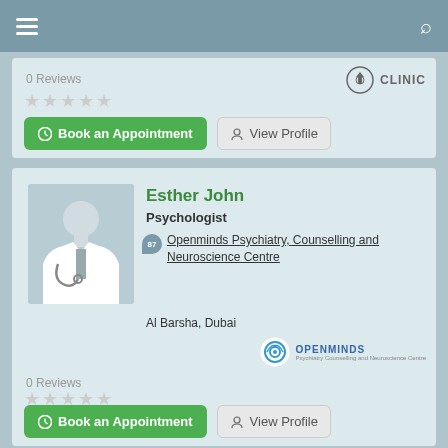Navigation bar with hamburger menu and search icon
0 Reviews
[Figure (other): 5 empty grey star rating icons]
[Figure (other): CLINIC icon with shield/medical logo]
Book an Appointment (button)
View Profile (button)
Esther John
Psychologist
Openminds Psychiatry, Counselling and Neuroscience Centre
Al Barsha, Dubai
[Figure (logo): Openminds clinic logo with circular eye graphic and OPENMINDS text]
0 Reviews
[Figure (other): 5 empty grey star rating icons]
Book an Appointment (button)
View Profile (button)